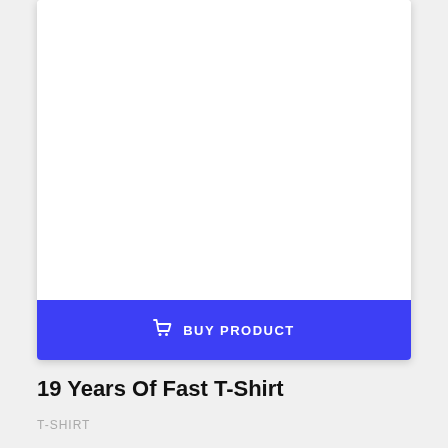[Figure (other): Product image area — white card with a 'BUY PRODUCT' button at the bottom in blue with a shopping cart icon]
19 Years Of Fast T-Shirt
T-SHIRT